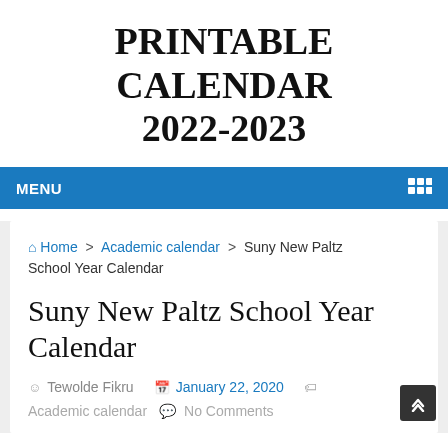PRINTABLE CALENDAR 2022-2023
MENU
Home > Academic calendar > Suny New Paltz School Year Calendar
Suny New Paltz School Year Calendar
Tewolde Fikru  January 22, 2020
Academic calendar  No Comments